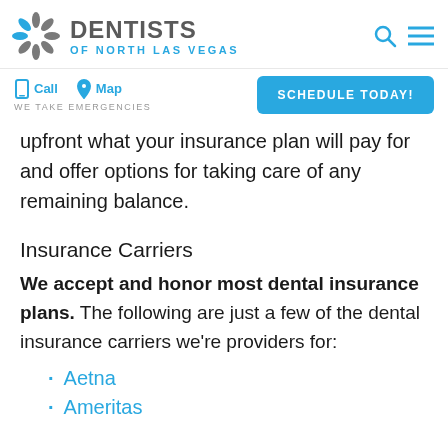DENTISTS OF NORTH LAS VEGAS
Call  Map  WE TAKE EMERGENCIES  SCHEDULE TODAY!
upfront what your insurance plan will pay for and offer options for taking care of any remaining balance.
Insurance Carriers
We accept and honor most dental insurance plans. The following are just a few of the dental insurance carriers we're providers for:
Aetna
Ameritas